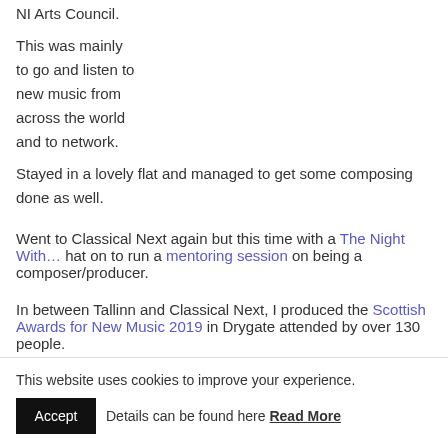NI Arts Council.
This was mainly
to go and listen to
new music from
across the world
and to network.
Stayed in a lovely flat and managed to get some composing done as well.
Went to Classical Next again but this time with a The Night With… hat on to run a mentoring session on being a composer/producer.
In between Tallinn and Classical Next, I produced the Scottish Awards for New Music 2019 in Drygate attended by over 130 people.
This website uses cookies to improve your experience.
Accept   Details can be found here Read More